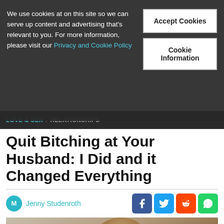We use cookies at on this site so we can serve up content and advertising that's relevant to you. For more information, please visit our Privacy and Cookie Policy
Accept Cookies
Cookie Information
LOVE & SEX - RELATIONSHIPS
Quit Bitching at Your Husband: I Did and it Changed Everything
Jenny Studenroth
[Figure (screenshot): Social sharing icons: Facebook, Twitter, Reddit, WhatsApp]
[Figure (photo): A young woman with a flower in her hair resting her chin on her hand, looking pensive, seated at a table]